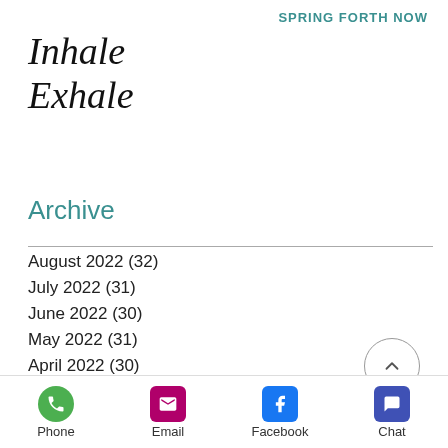SPRING FORTH NOW
Inhale
Exhale
Archive
August 2022 (32)
July 2022 (31)
June 2022 (30)
May 2022 (31)
April 2022 (30)
March 2022 (31)
February 2022 (28)
January 2022 (31)
December 2021 (31)
August 2021 (19)
Phone  Email  Facebook  Chat